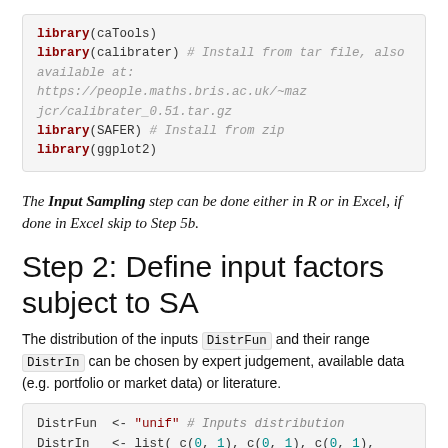[Figure (other): Code block showing R library imports: library(caTools), library(calibrater) with comment, library(SAFER) with comment, library(ggplot2)]
The Input Sampling step can be done either in R or in Excel, if done in Excel skip to Step 5b.
Step 2: Define input factors subject to SA
The distribution of the inputs DistrFun and their range DistrIn can be chosen by expert judgement, available data (e.g. portfolio or market data) or literature.
[Figure (other): Code block showing R code: DistrFun <- 'unif' with comment, DistrIn <- list( c(0, 1), c(0, 1), c(0, 1), c(0,]